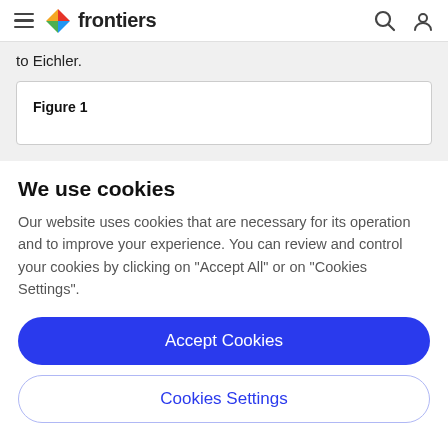frontiers
to Eichler.
[Figure (other): Figure 1 placeholder box]
Figure 1
We use cookies
Our website uses cookies that are necessary for its operation and to improve your experience. You can review and control your cookies by clicking on "Accept All" or on "Cookies Settings".
Accept Cookies
Cookies Settings